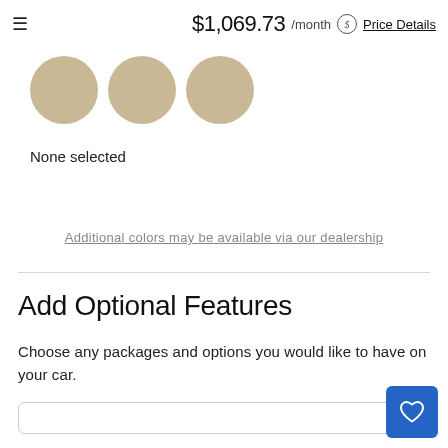$1,069.73 /month  Price Details
[Figure (illustration): Three tan/beige half-circle color swatches partially cropped at top]
None selected
Additional colors may be available via our dealership
Add Optional Features
Choose any packages and options you would like to have on your car.
[Figure (illustration): Blue button with white heart/favorite icon in bottom right corner]